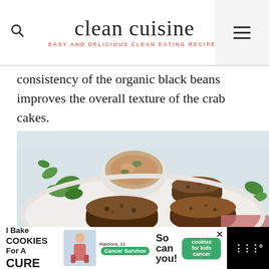clean cuisine — EASY AND DELICIOUS CLEAN EATING RECIPES
consistency of the organic black beans improves the overall texture of the crab cakes.
[Figure (photo): Crab cakes served on a white plate with a bowl of dipping sauce, garnished with fresh parsley/herbs]
[Figure (other): Advertisement banner: I Bake COOKIES For A CURE — So can you! — cookies for kids cancer]